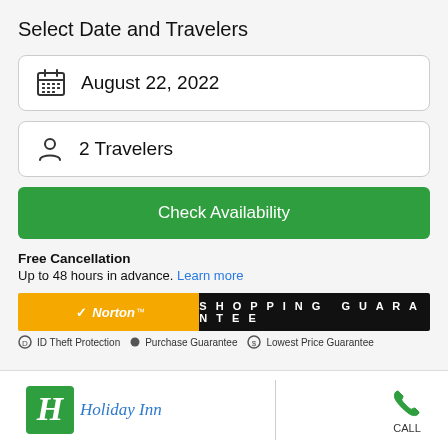Select Date and Travelers
August 22, 2022
2 Travelers
Check Availability
Free Cancellation
Up to 48 hours in advance. Learn more
[Figure (logo): Norton Shopping Guarantee badge with ID Theft Protection, Purchase Guarantee, and Lowest Price Guarantee labels]
[Figure (logo): Holiday Inn logo with green H box and italic blue text, plus phone call icon with CALL label]